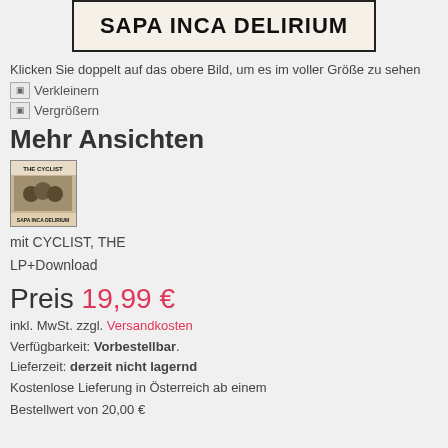[Figure (illustration): Album cover image with text 'SAPA INCA DELIRIUM' in bold black letters on light background with border]
Klicken Sie doppelt auf das obere Bild, um es im voller Größe zu sehen
Verkleinern
Vergrößern
Mehr Ansichten
[Figure (photo): Small thumbnail of album cover 'THE CYCLIST / SAPA INCA DELIRIUM']
mit CYCLIST, THE
LP+Download
Preis 19,99 €
inkl. MwSt. zzgl. Versandkosten
Verfügbarkeit: Vorbestellbar.
Lieferzeit: derzeit nicht lagernd
Kostenlose Lieferung in Österreich ab einem
Bestellwert von 20,00 €